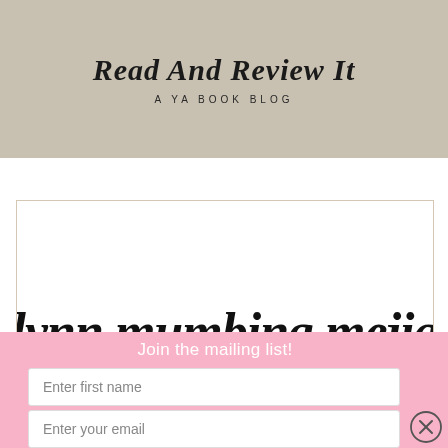Read And Review It
A YA BOOK BLOG
[Figure (illustration): Handwritten script text reading 'lynn mumbing mejia' in large black brush lettering on white background inside a beige-bordered card]
Join the mailing list!
Enter first name
Enter your email
Subscribe